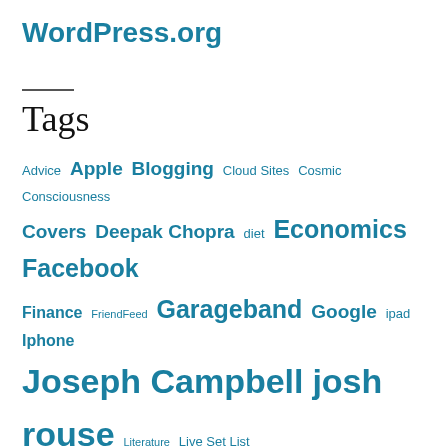WordPress.org
Tags
Advice Apple Blogging Cloud Sites Cosmic Consciousness Covers Deepak Chopra diet Economics Facebook Finance FriendFeed Garageband Google ipad Iphone Joseph Campbell josh rouse Literature Live Set List meditation Monetary Policy Music My Poetry My Songs